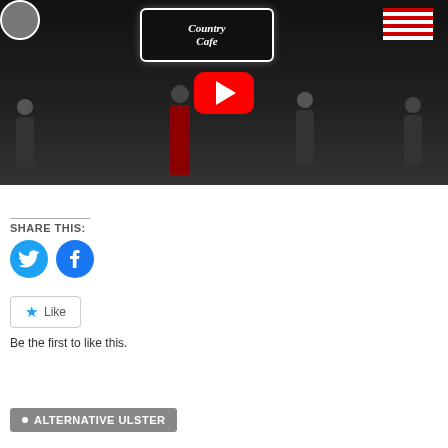[Figure (screenshot): YouTube video thumbnail showing a band performing on stage at a venue with a 'Country Cafe' sign and an American flag, with a large red YouTube play button overlay]
SHARE THIS:
[Figure (logo): Twitter (bird) social share circle icon in blue]
[Figure (logo): Facebook social share circle icon in blue]
Like
Be the first to like this.
ALTERNATIVE ULSTER